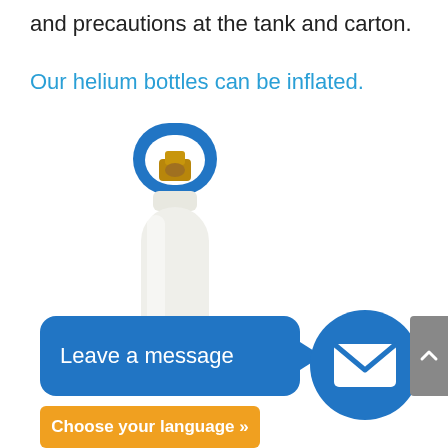and precautions at the tank and carton.
Our helium bottles can be inflated.
[Figure (photo): A white helium gas cylinder/bottle with a blue handle/cap and a brass valve at the top, standing upright on a white background.]
Leave a message
[Figure (illustration): A blue circle containing a white envelope/mail icon, representing a contact or message button.]
Choose your language »